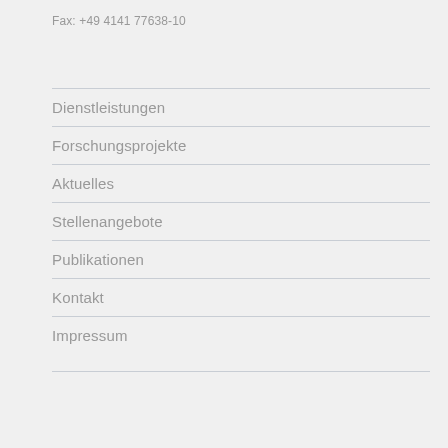Fax: +49 4141 77638-10
Dienstleistungen
Forschungsprojekte
Aktuelles
Stellenangebote
Publikationen
Kontakt
Impressum